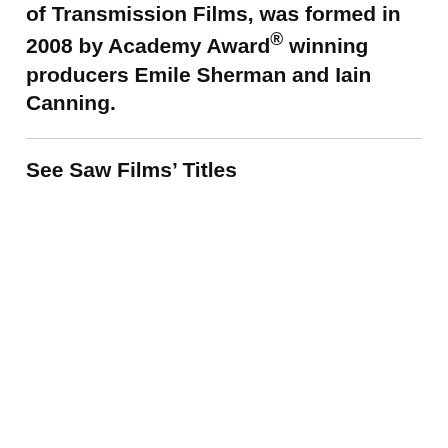of Transmission Films, was formed in 2008 by Academy Award® winning producers Emile Sherman and Iain Canning.
See Saw Films' Titles